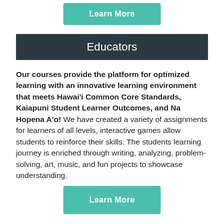[Figure (other): Teal 'Learn More' button at top of page]
Educators
Our courses provide the platform for optimized learning with an innovative learning environment that meets Hawai'i Common Core Standards, Kaiapuni Student Learner Outcomes, and Na Hopena A'o! We have created a variety of assignments for learners of all levels, interactive games allow students to reinforce their skills. The students learning journey is enriched through writing, analyzing, problem-solving, art, music, and fun projects to showcase understanding.
[Figure (other): Teal 'Learn More' button at bottom of page]